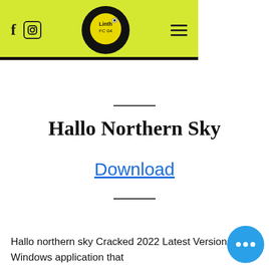[Figure (screenshot): Website header with yellow-green background, Facebook and Instagram icons on the left, Linth FC 04 circular logo in the center (black semicircle backdrop), and hamburger menu icon on the right.]
Hallo Northern Sky
Download
Hallo northern sky Cracked 2022 Latest Version is a Windows application that